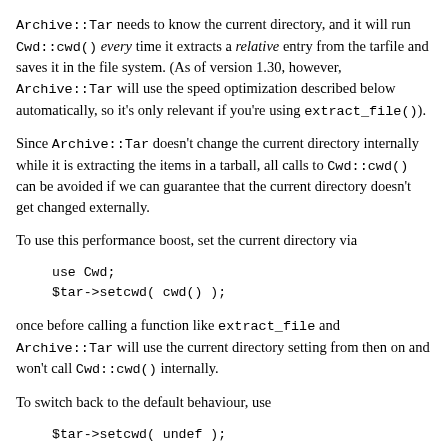Archive::Tar needs to know the current directory, and it will run Cwd::cwd() every time it extracts a relative entry from the tarfile and saves it in the file system. (As of version 1.30, however, Archive::Tar will use the speed optimization described below automatically, so it's only relevant if you're using extract_file()).
Since Archive::Tar doesn't change the current directory internally while it is extracting the items in a tarball, all calls to Cwd::cwd() can be avoided if we can guarantee that the current directory doesn't get changed externally.
To use this performance boost, set the current directory via
use Cwd;
$tar->setcwd( cwd() );
once before calling a function like extract_file and Archive::Tar will use the current directory setting from then on and won't call Cwd::cwd() internally.
To switch back to the default behaviour, use
$tar->setcwd( undef );
and Archive::Tar will call Cwd::cwd() internally again.